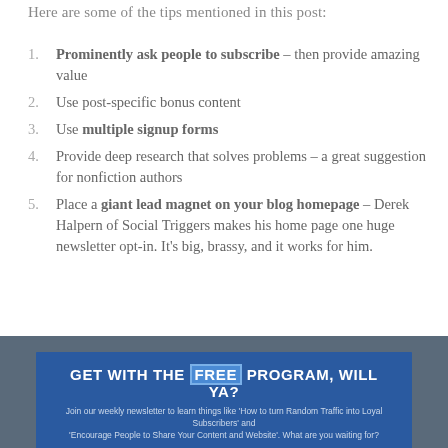Here are some of the tips mentioned in this post:
Prominently ask people to subscribe – then provide amazing value
Use post-specific bonus content
Use multiple signup forms
Provide deep research that solves problems – a great suggestion for nonfiction authors
Place a giant lead magnet on your blog homepage – Derek Halpern of Social Triggers makes his home page one huge newsletter opt-in. It's big, brassy, and it works for him.
[Figure (infographic): Blue banner with text 'GET WITH THE FREE PROGRAM, WILL YA?' and subtext about joining weekly newsletter to learn things like 'How to turn Random Traffic into Loyal Subscribers' and 'Encourage People to Share Your Content and Website'.]